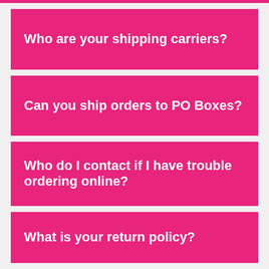Who are your shipping carriers?
Can you ship orders to PO Boxes?
Who do I contact if I have trouble ordering online?
What is your return policy?